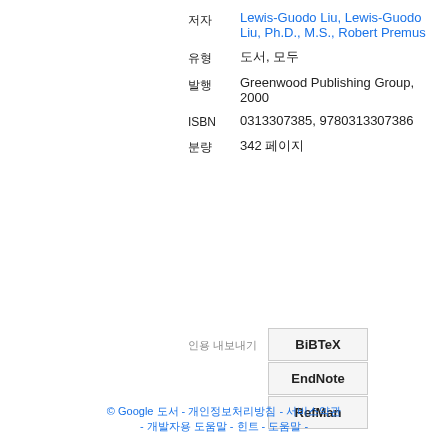저자: Lewis-Guodo Liu, Lewis-Guodo Liu, Ph.D., M.S., Robert Premus
유형: 도서, 모두
발행: Greenwood Publishing Group, 2000
ISBN: 0313307385, 9780313307386
분량: 342 페이지
인용 내보내기: BiBTeX, EndNote, RefMan
© Google 도서 - 개인정보처리방침 - 서비스약관 - 개발자용 도움말 - 힌트 - 도움말 -